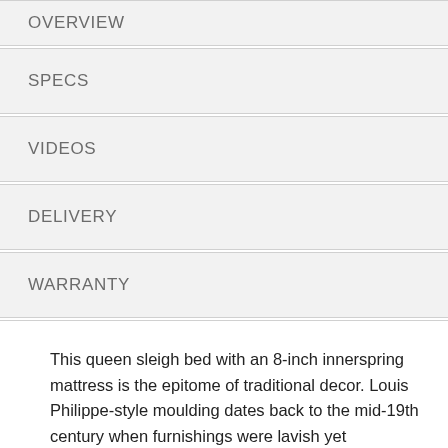OVERVIEW
SPECS
VIDEOS
DELIVERY
WARRANTY
This queen sleigh bed with an 8-inch innerspring mattress is the epitome of traditional decor. Louis Philippe-style moulding dates back to the mid-19th century when furnishings were lavish yet somewhat simple. The deep finish brings warmth and elegance into the space. With the mattress included, you'll get the support of a truly traditional coil mattress which contours to your body for a